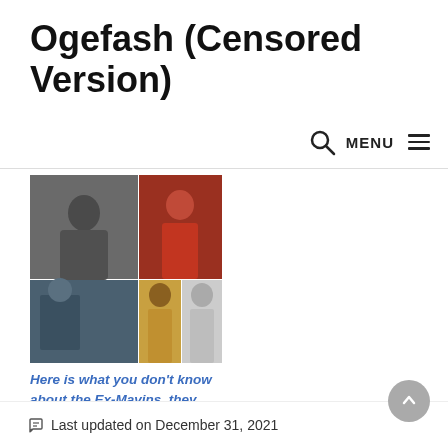Ogefash (Censored Version)
[Figure (photo): Mosaic collage of multiple celebrity/entertainment photos arranged in a grid]
Here is what you don't know about the Ex-Mavins, they were
December 1, 2021
In "AFRICAN ENTERTAINMENT"
Last updated on December 31, 2021